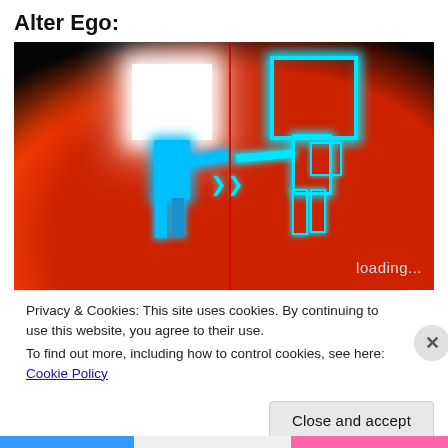Alter Ego:
[Figure (screenshot): Dark background image showing two stylized figures with square/rectangular heads facing each other. Left figure has a bright white glowing square head and cyan/blue body. Right figure has a cyan outlined square head and body. They appear to be standing on an orange/red glowing platform. A red vertical line divides them. Text 'loading...' appears in the lower right corner of the image.]
Privacy & Cookies: This site uses cookies. By continuing to use this website, you agree to their use.
To find out more, including how to control cookies, see here: Cookie Policy
Close and accept